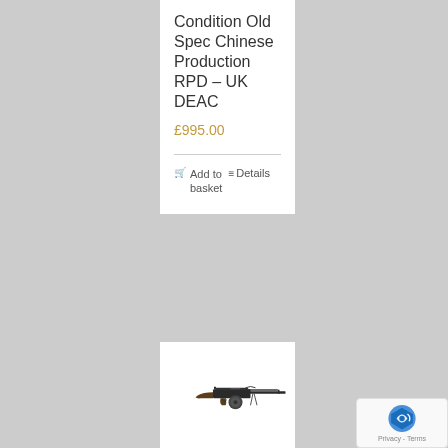Condition Old Spec Chinese Production RPD – UK DEAC
£995.00
Add to basket   Details
[Figure (photo): Photo of an RPD machine gun, shown in profile view against a white background]